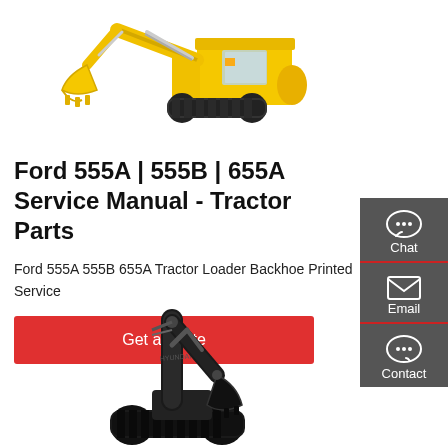[Figure (photo): Yellow excavator/backhoe loader with yellow bucket and black tracks, shown from the side on white background]
Ford 555A | 555B | 655A Service Manual - Tractor Parts
Ford 555A 555B 655A Tractor Loader Backhoe Printed Service
Get a quote
[Figure (illustration): Black Hyundai excavator arm/backhoe attachment shown from the side on white background]